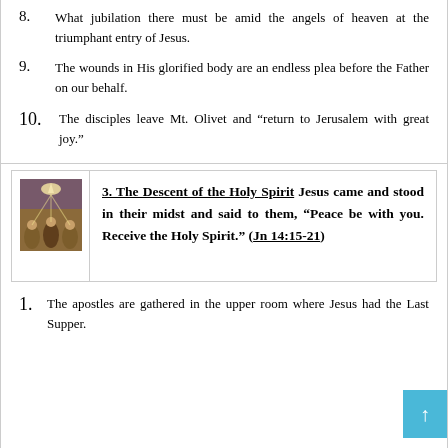8. What jubilation there must be amid the angels of heaven at the triumphant entry of Jesus.
9. The wounds in His glorified body are an endless plea before the Father on our behalf.
10. The disciples leave Mt. Olivet and “return to Jerusalem with great joy.”
[Figure (illustration): Religious painting showing figures gathered, likely depicting Pentecost or the descent of the Holy Spirit]
3. The Descent of the Holy Spirit Jesus came and stood in their midst and said to them, “Peace be with you. Receive the Holy Spirit.” (Jn 14:15-21)
1. The apostles are gathered in the upper room where Jesus had the Last Supper.